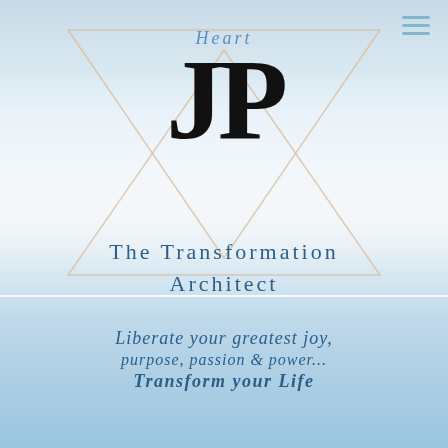[Figure (logo): JP Heart logo with large JP monogram in black, Heart text in blue italic above, gold/tan geometric triangle overlay on light blue sky/water background]
The Transformation Architect
Liberate your greatest joy, purpose, passion & power... Transform your Life